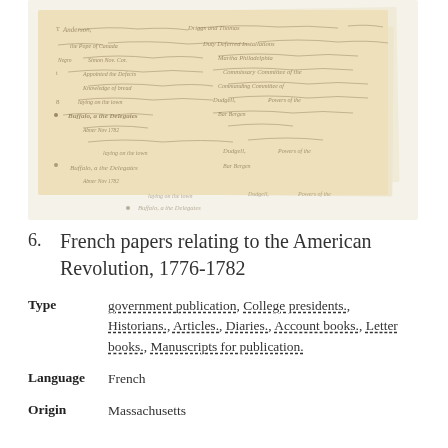[Figure (photo): Three overlapping aged manuscript documents with handwritten cursive text in brown/sepia ink on yellowed paper, arranged in a staggered stack pattern.]
6.  French papers relating to the American Revolution, 1776-1782
Type   government publication, College presidents., Historians., Articles., Diaries., Account books., Letter books., Manuscripts for publication.
Language   French
Origin   Massachusetts